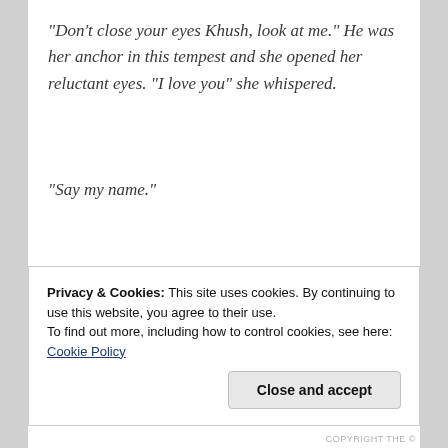“Don’t close your eyes Khush, look at me.” He was her anchor in this tempest and she opened her reluctant eyes. “I love you” she whispered.
“Say my name.”
“I love you NK”
Privacy & Cookies: This site uses cookies. By continuing to use this website, you agree to their use.
To find out more, including how to control cookies, see here: Cookie Policy
Close and accept